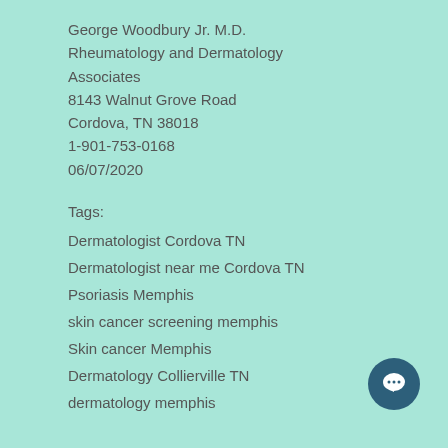George Woodbury Jr. M.D.
Rheumatology and Dermatology Associates
8143 Walnut Grove Road
Cordova, TN 38018
1-901-753-0168
06/07/2020
Tags:
Dermatologist Cordova TN
Dermatologist near me Cordova TN
Psoriasis Memphis
skin cancer screening memphis
Skin cancer Memphis
Dermatology Collierville TN
dermatology memphis